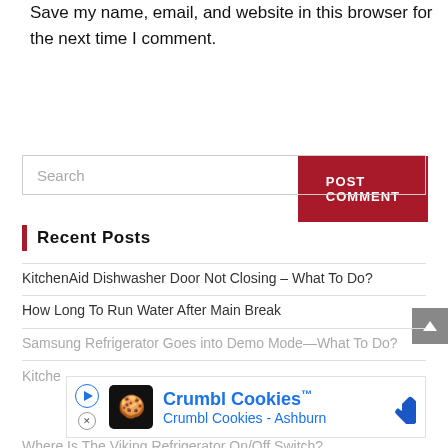Save my name, email, and website in this browser for the next time I comment.
POST COMMENT
Search
Recent Posts
KitchenAid Dishwasher Door Not Closing – What To Do?
How Long To Run Water After Main Break
Samsung Refrigerator Goes into Demo Mode—What To Do?
Kitchen...
Where Is The Viking Refrigerator On/Off Switch?
[Figure (screenshot): Crumbl Cookies advertisement banner with logo, text 'Crumbl Cookies™ Crumbl Cookies - Ashburn', play button, close button, and navigation arrow icon]